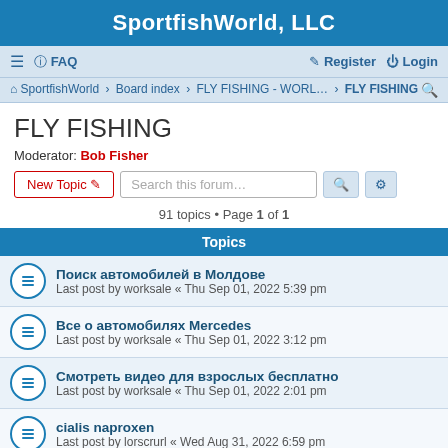SportfishWorld, LLC
≡  FAQ    Register  Login
SportfishWorld · Board index · FLY FISHING - WORL... · FLY FISHING
FLY FISHING
Moderator: Bob Fisher
New Topic  Search this forum…
91 topics • Page 1 of 1
Topics
Поиск автомобилей в Молдове
Last post by worksale « Thu Sep 01, 2022 5:39 pm
Все о автомобилях Mercedes
Last post by worksale « Thu Sep 01, 2022 3:12 pm
Смотреть видео для взрослых бесплатно
Last post by worksale « Thu Sep 01, 2022 2:01 pm
cialis naproxen
Last post by lorscrurl « Wed Aug 31, 2022 6:59 pm
Новости о быстрых автомолях в мире
Last post by worksale « Wed Aug 31, 2022 6:08 pm